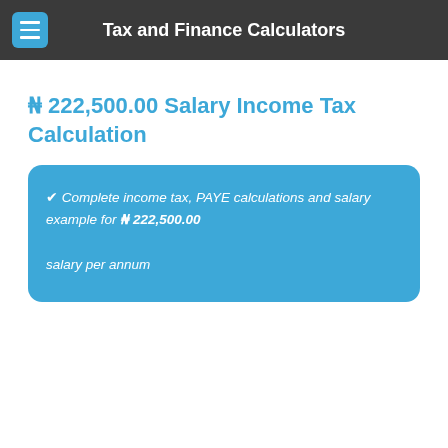Tax and Finance Calculators
₦ 222,500.00 Salary Income Tax Calculation
✔ Complete income tax, PAYE calculations and salary example for ₦ 222,500.00 salary per annum